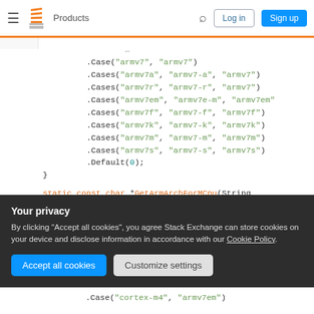Stack Overflow navigation bar with Products, Search, Log in, Sign up
[Figure (screenshot): Code snippet showing C++ switch-case style builder calls for ARM architecture strings: .Case("armv7","armv7"), .Cases for armv7a, armv7r, armv7em, armv7f, armv7k, armv7m, armv7s, .Default(0); closing brace, then static const char *GetArmArchForMCpu(String, return llvm::StringSwitch<const char *>(V, .Cases("arm9e", "arm946e-s", "arm966e-s"]
Your privacy
By clicking "Accept all cookies", you agree Stack Exchange can store cookies on your device and disclose information in accordance with our Cookie Policy.
Accept all cookies   Customize settings
.Case("cortex-m4", "armv7em")